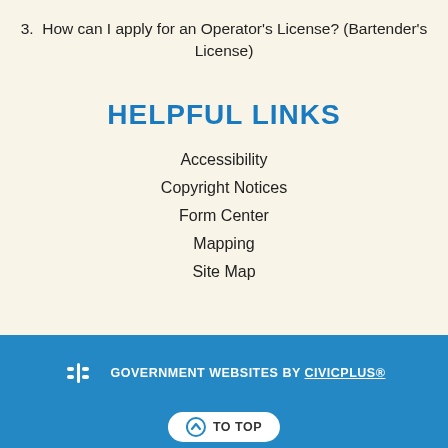3.  How can I apply for an Operator's License? (Bartender's License)
HELPFUL LINKS
Accessibility
Copyright Notices
Form Center
Mapping
Site Map
GOVERNMENT WEBSITES BY CIVICPLUS®
Select Language
TO TOP